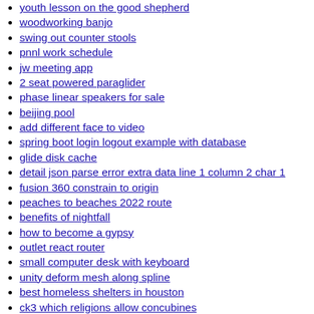youth lesson on the good shepherd
woodworking banjo
swing out counter stools
pnnl work schedule
jw meeting app
2 seat powered paraglider
phase linear speakers for sale
beijing pool
add different face to video
spring boot login logout example with database
glide disk cache
detail json parse error extra data line 1 column 2 char 1
fusion 360 constrain to origin
peaches to beaches 2022 route
benefits of nightfall
how to become a gypsy
outlet react router
small computer desk with keyboard
unity deform mesh along spline
best homeless shelters in houston
ck3 which religions allow concubines
goodman downflow air handler
shroomalicious chocolate
picrew korean
stevens model 58 12 gauge stock